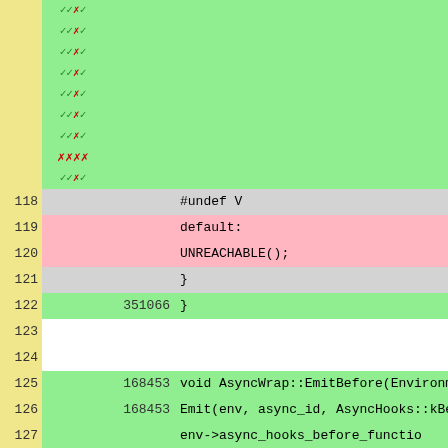[Figure (screenshot): Code coverage viewer showing C++ source lines 118-131 with line numbers, coverage markers (checkmarks and X marks in green/red), hit counts, and code text on colored backgrounds (green for covered, pink for uncovered, gray for partial/no data, white for blank).]